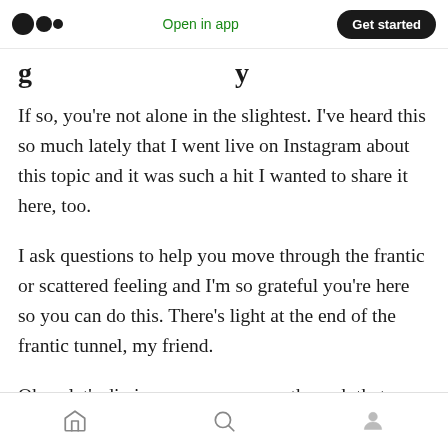Open in app | Get started
g                        y
If so, you’re not alone in the slightest. I’ve heard this so much lately that I went live on Instagram about this topic and it was such a hit I wanted to share it here, too.
I ask questions to help you move through the frantic or scattered feeling and I’m so grateful you’re here so you can do this. There’s light at the end of the frantic tunnel, my friend.
Okay, let’s dig in so you can move through that frantic feeling!
Home | Search | Profile